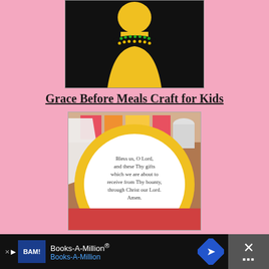[Figure (photo): Yellow silhouette of a person with bead necklace on black background — craft illustration]
Grace Before Meals Craft for Kids
[Figure (photo): Yellow paper plate with printed prayer text: 'Bless us, O Lord, and these Thy gifts which we are about to receive from Thy bounty, through Christ our Lord. Amen.' placed on colorful craft background]
[Figure (screenshot): Books-A-Million advertisement bar at bottom with BAM logo, Books-A-Million text, blue navigation arrow icon, and close X button]